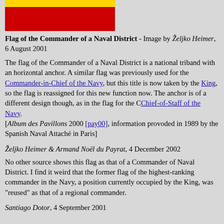[Figure (illustration): Flag of the Commander of a Naval District - horizontal triband of yellow, red, and red (Spanish naval flag colors)]
Flag of the Commander of a Naval District - Image by Željko Heimer, 6 August 2001
The flag of the Commander of a Naval District is a national triband with an horizontal anchor. A similar flag was previously used for the Commander-in-Chief of the Navy, but this title is now taken by the King, so the flag is reassigned for this new function now. The anchor is of a different design though, as in the flag for the CChief-of-Staff of the Navy. [Album des Pavillons 2000 [pay00], information provoded in 1989 by the Spanish Naval Attaché in Paris]
Željko Heimer & Armand Noël du Payrat, 4 December 2002
No other source shows this flag as that of a Commander of Naval District. I find it weird that the former flag of the highest-ranking commander in the Navy, a position currently occupied by the King, was "reused" as that of a regional commander.
Santiago Dotor, 4 September 2001